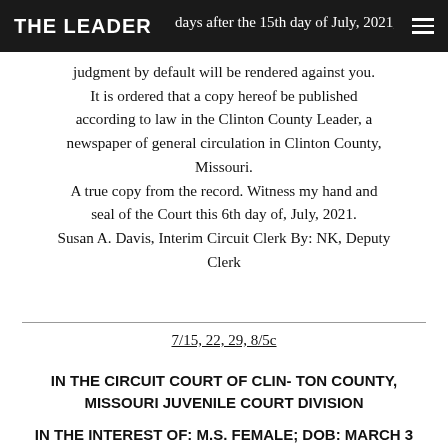THE LEADER
days after the 15th day of July, 2021, judgment by default will be rendered against you. It is ordered that a copy hereof be published according to law in the Clinton County Leader, a newspaper of general circulation in Clinton County, Missouri. A true copy from the record. Witness my hand and seal of the Court this 6th day of, July, 2021. Susan A. Davis, Interim Circuit Clerk By: NK, Deputy Clerk
7/15, 22, 29, 8/5c
IN THE CIRCUIT COURT OF CLIN- TON COUNTY, MISSOURI JUVENILE COURT DIVISION
IN THE INTEREST OF: M.S. Female; DOB: March 3